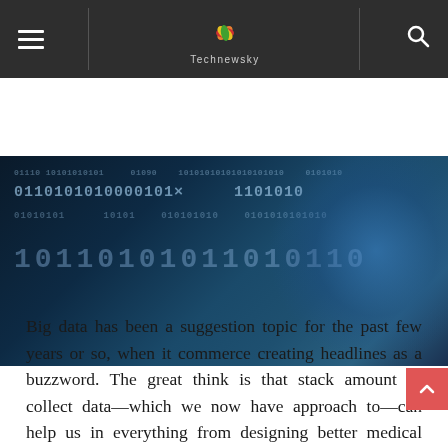Technewsky (navigation bar with hamburger menu, logo, and search icon)
[Figure (photo): Dark blue digital background with binary code numbers (0s and 1s) overlaid, and a glowing blue 3D human face profile on the right side, representing big data / AI concept.]
Big data has been a suggestion topic for the past few years or so, when it commerce creating headlines as a buzzword. The great think is that stack amount of collect data—which we now have approach to—can help us in everything from designing better medical treatments to perform better creating